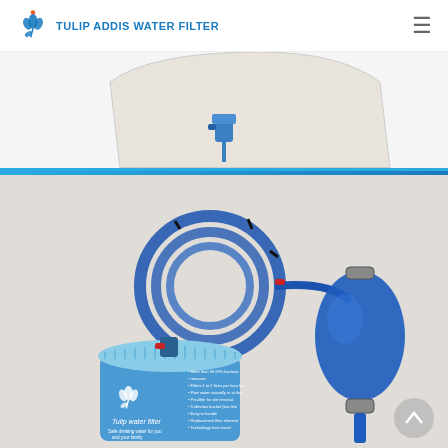TULIP ADDIS WATER FILTER
[Figure (photo): Partial view of a water filter container with a blue spigot/tap at the bottom, white plastic bucket-style container, on white background]
[Figure (photo): Tulip water filter product photo showing a blue cylindrical filter canister with Tulip logo and 'Tulip water filter' text, connected to blue coiled tubing and a blue squeeze bulb pump with red and silver fittings]